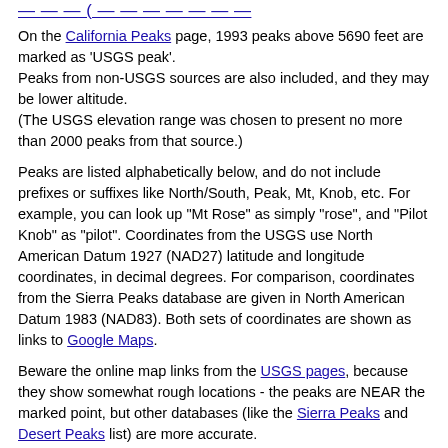— — — ( — — — — — — —
On the California Peaks page, 1993 peaks above 5690 feet are marked as 'USGS peak'. Peaks from non-USGS sources are also included, and they may be lower altitude. (The USGS elevation range was chosen to present no more than 2000 peaks from that source.)
Peaks are listed alphabetically below, and do not include prefixes or suffixes like North/South, Peak, Mt, Knob, etc. For example, you can look up "Mt Rose" as simply "rose", and "Pilot Knob" as "pilot". Coordinates from the USGS use North American Datum 1927 (NAD27) latitude and longitude coordinates, in decimal degrees. For comparison, coordinates from the Sierra Peaks database are given in North American Datum 1983 (NAD83). Both sets of coordinates are shown as links to Google Maps.
Beware the online map links from the USGS pages, because they show somewhat rough locations - the peaks are NEAR the marked point, but other databases (like the Sierra Peaks and Desert Peaks list) are more accurate.
Follow links to the Climber.Org Trip Reports for other people's experience, and remember to file your own report!
Follow the links to Climber.Org...